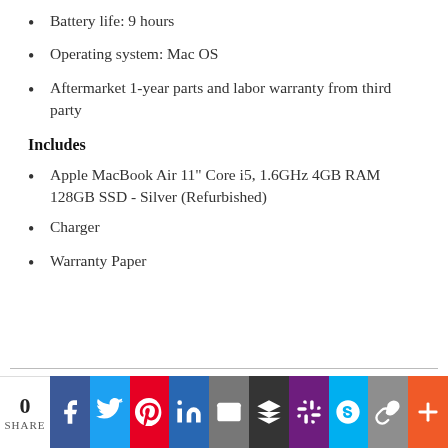Battery life: 9 hours
Operating system: Mac OS
Aftermarket 1-year parts and labor warranty from third party
Includes
Apple MacBook Air 11" Core i5, 1.6GHz 4GB RAM 128GB SSD - Silver (Refurbished)
Charger
Warranty Paper